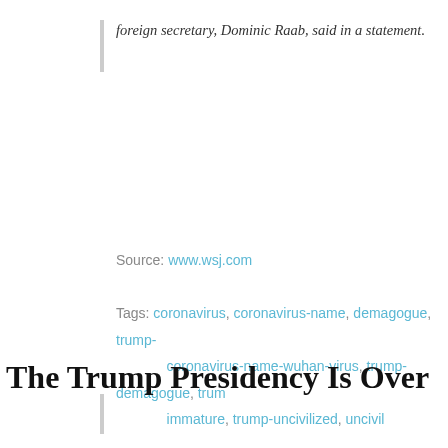foreign secretary, Dominic Raab, said in a statement.
Source: www.wsj.com
Tags: coronavirus, coronavirus-name, demagogue, trump-coronavirus-name-wuhan-virus, trump-demagogue, trump-immature, trump-uncivilized, uncivil
Read More
The Trump Presidency Is Over